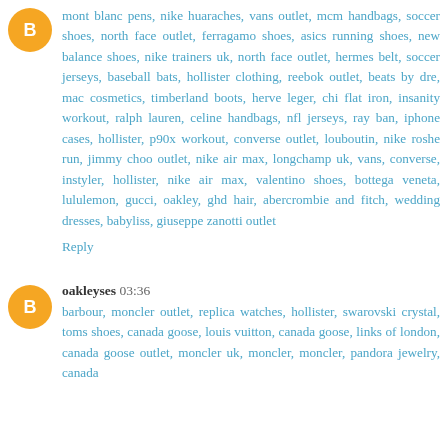mont blanc pens, nike huaraches, vans outlet, mcm handbags, soccer shoes, north face outlet, ferragamo shoes, asics running shoes, new balance shoes, nike trainers uk, north face outlet, hermes belt, soccer jerseys, baseball bats, hollister clothing, reebok outlet, beats by dre, mac cosmetics, timberland boots, herve leger, chi flat iron, insanity workout, ralph lauren, celine handbags, nfl jerseys, ray ban, iphone cases, hollister, p90x workout, converse outlet, louboutin, nike roshe run, jimmy choo outlet, nike air max, longchamp uk, vans, converse, instyler, hollister, nike air max, valentino shoes, bottega veneta, lululemon, gucci, oakley, ghd hair, abercrombie and fitch, wedding dresses, babyliss, giuseppe zanotti outlet
Reply
oakleyses 03:36
barbour, moncler outlet, replica watches, hollister, swarovski crystal, toms shoes, canada goose, louis vuitton, canada goose, links of london, canada goose outlet, moncler uk, moncler, moncler, pandora jewelry, canada